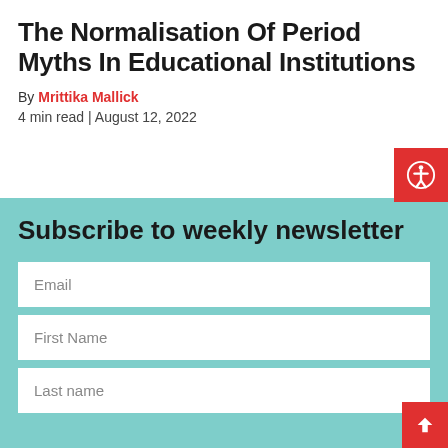The Normalisation Of Period Myths In Educational Institutions
By Mrittika Mallick
4 min read | August 12, 2022
[Figure (other): Red accessibility icon button with person-in-circle symbol]
Subscribe to weekly newsletter
Email
First Name
Last name
[Figure (other): Red back-to-top arrow button]